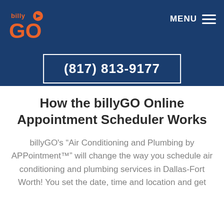[Figure (logo): billyGO logo: orange text 'billy' above large orange 'GO' with a right-pointing arrow icon]
MENU ☰
(817) 813-9177
How the billyGO Online Appointment Scheduler Works
billyGO's “Air Conditioning and Plumbing by APPointment™” will change the way you schedule air conditioning and plumbing services in Dallas-Fort Worth! You set the date, time and location and get